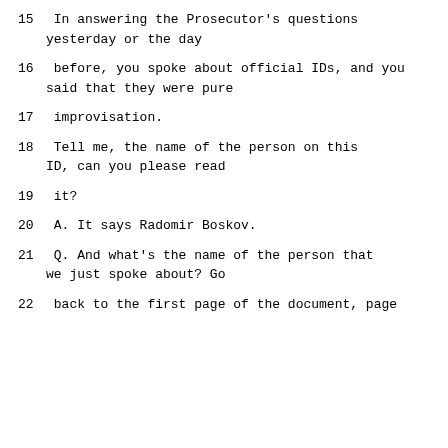15      In answering the Prosecutor's questions yesterday or the day
16      before, you spoke about official IDs, and you said that they were pure
17      improvisation.
18             Tell me, the name of the person on this ID, can you please read
19      it?
20      A.   It says Radomir Boskov.
21      Q.   And what's the name of the person that we just spoke about?  Go
22      back to the first page of the document, page